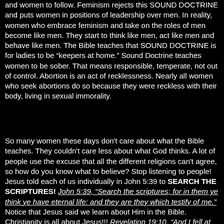and women to follow. Feminism rejects this SOUND DOCTRINE and puts women in positions of leadership over men. In reality, women who embrace feminism and take on the roles of men become like men. They start to think like men, act like men and behave like men. The Bible teaches that SOUND DOCTRINE is for ladies to be “keepers at home.” Sound Doctrine teaches women to be sober. That means responsible, temperate, not out of control. Abortion is an act of recklessness. Nearly all women who seek abortions do so because they were reckless with their body, living in sexual immorality.
So many women these days don't care about what the Bible teaches. They couldn't care less about what God thinks. A lot of people use the excuse that all the different religions can't agree, so how do you know what to believe? Stop listening to people! Jesus told each of us individually in John 5:39 to SEARCH THE SCRIPTURES! John 5:39, “Search the scriptures; for in them ye think ye have eternal life: and they are they which testify of me.” Notice that Jesus said we learn about Him in the Bible. Christianity is all about Jesus!!! Revelation 19:10, “And I fell at his feet to worship him. And he said unto me, See thou do it not: I am thy fellowservant, and of